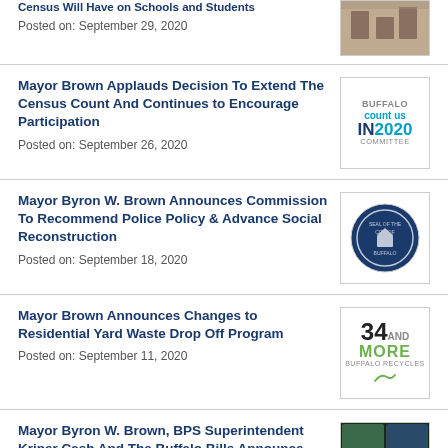Posted on: September 29, 2020
Mayor Brown Applauds Decision To Extend The Census Count And Continues to Encourage Participation
Posted on: September 26, 2020
Mayor Byron W. Brown Announces Commission To Recommend Police Policy & Advance Social Reconstruction
Posted on: September 18, 2020
Mayor Brown Announces Changes to Residential Yard Waste Drop Off Program
Posted on: September 11, 2020
Mayor Byron W. Brown, BPS Superintendent Kriner Cash And The Buffalo Bills Announce New Partnership